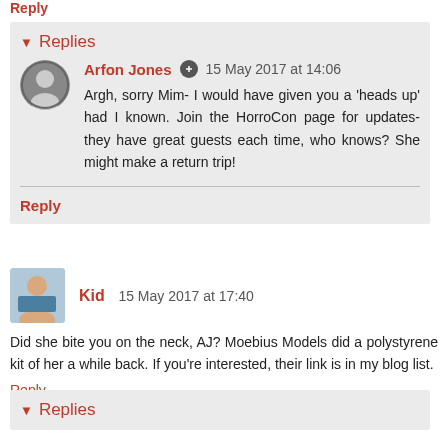Reply
Replies
Arfon Jones  15 May 2017 at 14:06
Argh, sorry Mim- I would have given you a 'heads up' had I known. Join the HorroCon page for updates- they have great guests each time, who knows? She might make a return trip!
Reply
Kid  15 May 2017 at 17:40
Did she bite you on the neck, AJ? Moebius Models did a polystyrene kit of her a while back. If you're interested, their link is in my blog list.
Reply
Replies